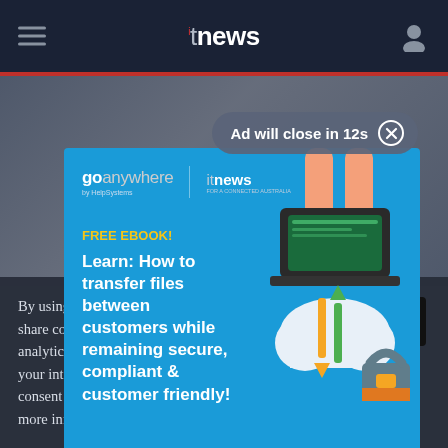itnews
Ad will close in 12s ✕
[Figure (infographic): GoAnywhere by HelpSystems and itnews co-branded advertisement. Blue background with illustration of hands typing on a laptop above a cloud, with arrows and a padlock. Text: FREE EBOOK! Learn: How to transfer files between customers while remaining secure, compliant & customer friendly!]
By using our site you accept that we use and share cookies and similar technologies to perform analytics and provide content and ads tailored to your interests. By continuing to use our site, you consent to this. Please see our Cookie Policy for more information.